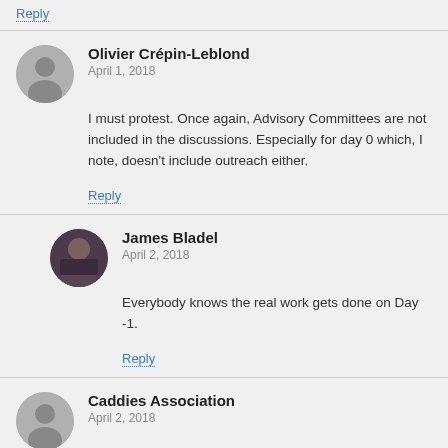Reply
Olivier Crépin-Leblond
April 1, 2018
I must protest. Once again, Advisory Committees are not included in the discussions. Especially for day 0 which, I note, doesn't include outreach either.
Reply
James Bladel
April 2, 2018
Everybody knows the real work gets done on Day -1.
Reply
Caddies Association
April 2, 2018
The Caddies Association comes forward to note that